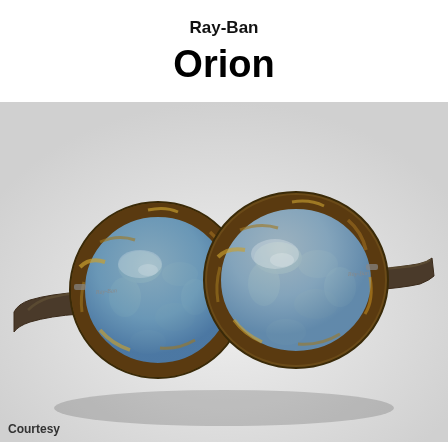Ray-Ban
Orion
[Figure (photo): Ray-Ban Orion sunglasses with tortoiseshell frame and blue gradient lenses, shown in three-quarter view on a light gray background.]
Courtesy